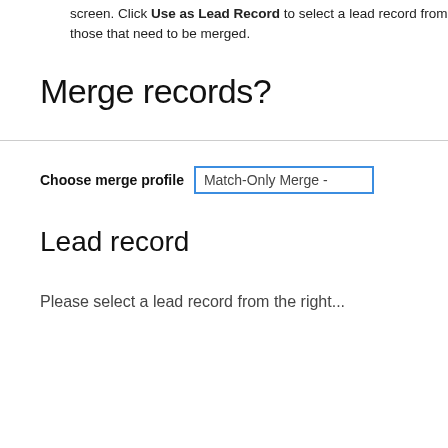screen. Click Use as Lead Record to select a lead record from those that need to be merged.
Merge records?
Choose merge profile   Match-Only Merge -
Lead record
Please select a lead record from the right...